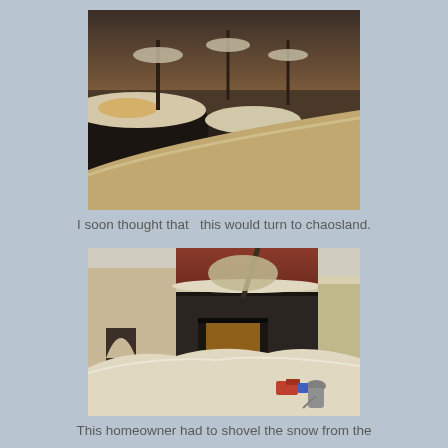[Figure (photo): Snowy street scene at sunrise/sunset showing cars buried under thick snow, with golden light reflecting off the snow. Trees in background also covered with snow.]
I soon thought that  this would turn to chaosland.
[Figure (photo): A homeowner shoveling snow in front of a brownstone building entrance. Heavy snow covers trees, railings, and the surrounding area. The building has a dark facade with an arched doorway.]
This homeowner had to shovel the snow from the